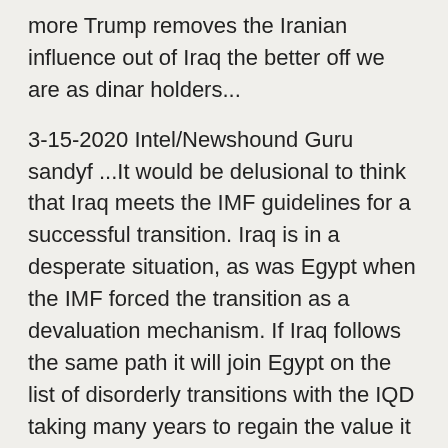more Trump removes the Iranian influence out of Iraq the better off we are as dinar holders...
3-15-2020 Intel/Newshound Guru sandyf ...It would be delusional to think that Iraq meets the IMF guidelines for a successful transition. Iraq is in a desperate situation, as was Egypt when the IMF forced the transition as a devaluation mechanism. If Iraq follows the same path it will join Egypt on the list of disorderly transitions with the IQD taking many years to regain the value it has now. Floating the currency is never going to create any meaningful return on the IQD investment.
3-14-2020 Intel Guru Delta Article: “The Governor of the Central Bank, Ali Al-Alaq, revealed today, Saturday, that Iraq’s external debts amount to about 23 billion dollars, while internal debts amount to about 40 trillion dinar.” Guru added his thoughts...